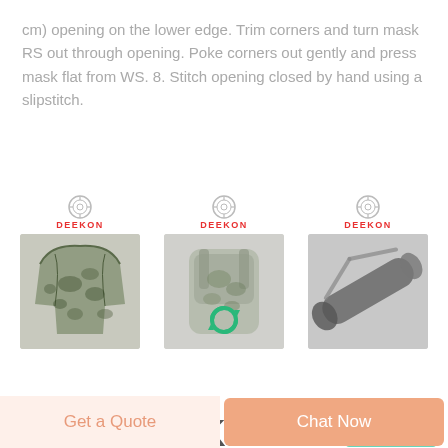cm) opening on the lower edge. Trim corners and turn mask RS out through opening. Poke corners out gently and press mask flat from WS. 8. Stitch opening closed by hand using a slipstitch.
[Figure (photo): Three product images with DEEKON logo above each: left is a camouflage jacket/shirt, center is a camouflage tactical backpack with a green refresh/loading icon overlay, right is a dark gray cylindrical object (possibly a flashlight or scope) with strap.]
Crumpet's Kandi Patterns - Pony Bead Patterns For Kandi
Get a Quote
Chat Now